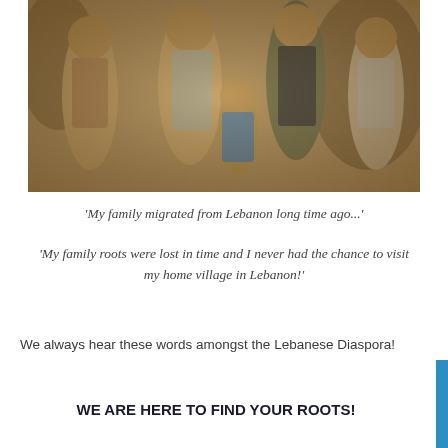[Figure (photo): Sepia-toned antique family portrait photograph showing a family of five: a woman in Victorian-era dress on the left, a man with a mustache in a suit in the center-back, a young child in a sailor outfit seated in the middle, and two girls in period dresses on the left and right sides.]
‘My family migrated from Lebanon long time ago...’
‘My family roots were lost in time and I never had the chance to visit my home village in Lebanon!’
We always hear these words amongst the Lebanese Diaspora!
WE ARE HERE TO FIND YOUR ROOTS!